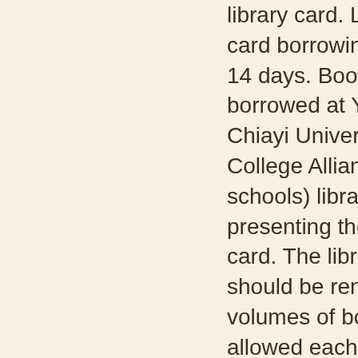library card. Library card borrowing period is 14 days. Books may be borrowed at Yunlin-Chiayi University and College Alliance (16 schools) libraries upon presenting the library card. The library card should be rendered. 5 volumes of books are allowed each time for a period of 14 days. Fines for violations are paid by the card holder. The 16 schools of the Yunlin-Chiayi University and College Alliance are: National Changhua University of Education, National Chung Cheng University, National